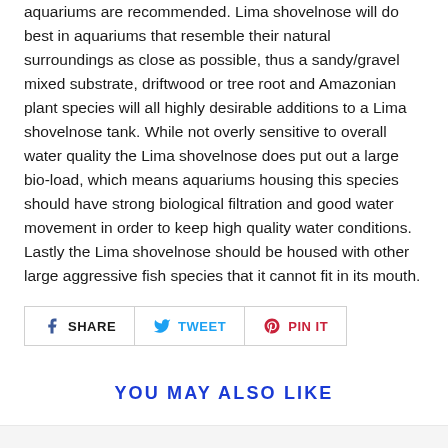aquariums are recommended. Lima shovelnose will do best in aquariums that resemble their natural surroundings as close as possible, thus a sandy/gravel mixed substrate, driftwood or tree root and Amazonian plant species will all highly desirable additions to a Lima shovelnose tank. While not overly sensitive to overall water quality the Lima shovelnose does put out a large bio-load, which means aquariums housing this species should have strong biological filtration and good water movement in order to keep high quality water conditions. Lastly the Lima shovelnose should be housed with other large aggressive fish species that it cannot fit in its mouth.
[Figure (other): Social share buttons: Facebook SHARE, Twitter TWEET, Pinterest PIN IT]
YOU MAY ALSO LIKE